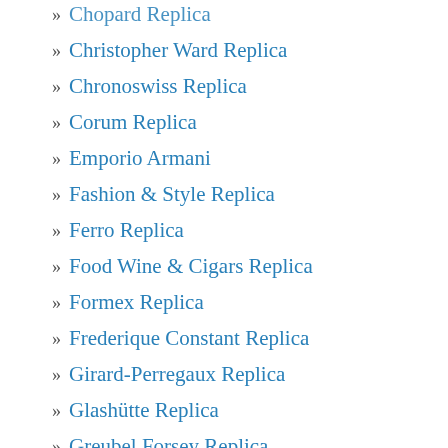Chopard Replica
Christopher Ward Replica
Chronoswiss Replica
Corum Replica
Emporio Armani
Fashion & Style Replica
Ferro Replica
Food Wine & Cigars Replica
Formex Replica
Frederique Constant Replica
Girard-Perregaux Replica
Glashütte Replica
Greubel Forsey Replica
Grieb & Benzinger Replica
Gruppo Gamma
Gucci Replica
H. Moser & Cie Replica